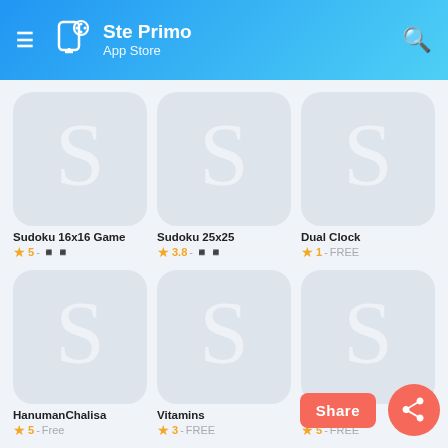Ste Primo App Store
[Figure (screenshot): App store grid showing 6 app listings: Sudoku 16x16 Game (rating 5), Sudoku 25x25 (rating 3.8), Dual Clock (rating 1, FREE), HanumanChalisa (rating 5, Free), Vitamins (rating 3, FREE), and a partially visible sixth app (rating 5, FREE). Each app has a grey icon with an 'S' placeholder. A Share button and share circle icon are overlaid at the bottom right.]